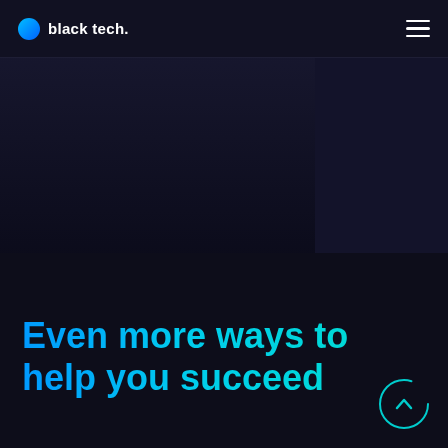black tech.
[Figure (screenshot): Dark banner/hero image area with two dark panels side by side, appears to be a website hero section with partially visible content]
Even more ways to help you succeed